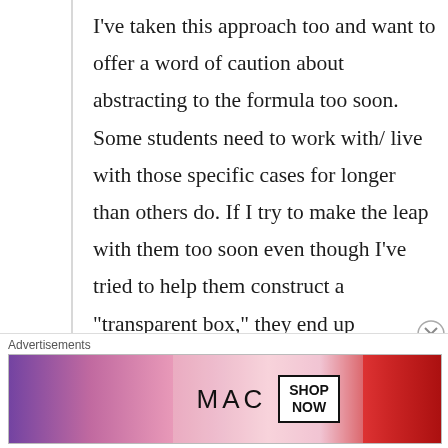I've taken this approach too and want to offer a word of caution about abstracting to the formula too soon. Some students need to work with/ live with those specific cases for longer than others do. If I try to make the leap with them too soon even though I've tried to help them construct a “transparent box,” they end up scrapping it for the “black box” because “at least it works.” I think when I get to it this year I’ll build the box over several days… Do you have other thoughts or comments on becoming too abstract/generalizing too quickly? Of course the other piece is that some
Advertisements
[Figure (other): MAC cosmetics advertisement banner showing lipsticks in purple, pink, and red colors with MAC logo and SHOP NOW button]